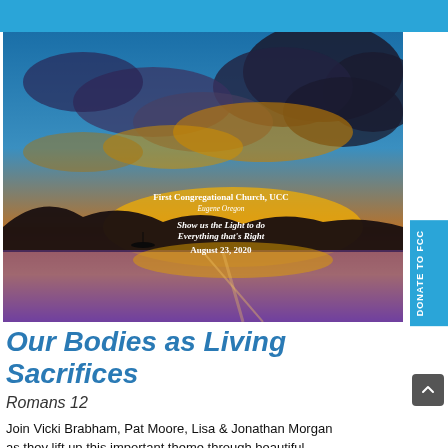[Figure (photo): Dramatic sunset over a lake or bay with golden and orange clouds, dark mountains in silhouette, and a small boat on the water. Overlaid text reads: 'First Congregational Church, UCC / Eugene Oregon / Show us the Light to do Everything that's Right / August 23, 2020']
Our Bodies as Living Sacrifices
Romans 12
Join Vicki Brabham, Pat Moore, Lisa & Jonathan Morgan as they lift up this important theme through beautiful